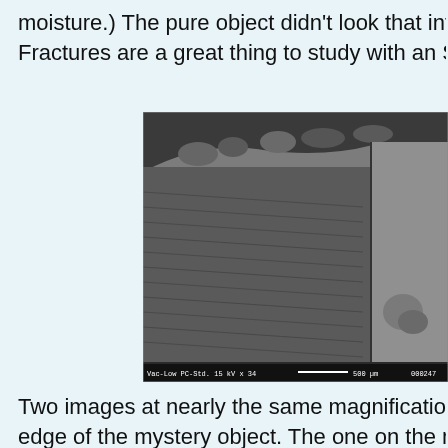moisture.) The pure object didn't look that interest Fractures are a great thing to study with an SEM.
[Figure (photo): Scanning electron microscope (SEM) image of a fractured surface showing the edge/fracture of an object. The image metadata bar at the bottom reads: Vac-Low  PC-Std.  15 kV  x 34  --- 500 µm  000247. The image is grayscale showing a textured fracture surface with a curved edge at the top and a vertical face on the right side.]
Two images at nearly the same magnification. T edge of the mystery object. The one on the righ